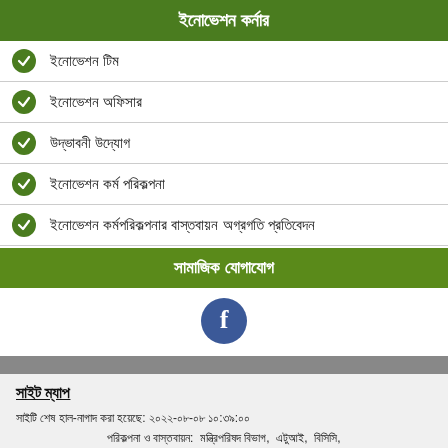ইনোভেশন কর্নার
ইনোভেশন টিম
ইনোভেশন অফিসার
উদ্ভাবনী উদ্যোগ
ইনোভেশন কর্ম পরিকল্পনা
ইনোভেশন কর্মপরিকল্পনার বাস্তবায়ন অগ্রগতি প্রতিবেদন
সামাজিক যোগাযোগ
[Figure (logo): Facebook logo icon - circular blue button with white f]
সাইট ম্যাপ
সাইটি শেষ হাল-নাগাদ করা হয়েছে: ২০২২-০৮-০৮ ১০:৩৯:০০
পরিকল্পনা ও বাস্তবায়ন:  মন্ত্রিপরিষদ বিভাগ,  এটুআই,  বিসিসি,